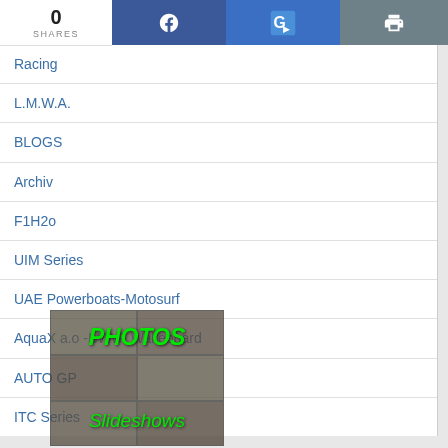0 SHARES
Racing
L.M.W.A.
BLOGS
Archiv
F1H2o
UIM Series
UAE Powerboats-Motosurf
AquaX a.o -IWWF Wakeboard
AUTO GP
ITC Series
[Figure (photo): Photo slideshow block with PHOTOS and Slideshows labels in green italic text over a grid of faint car images]